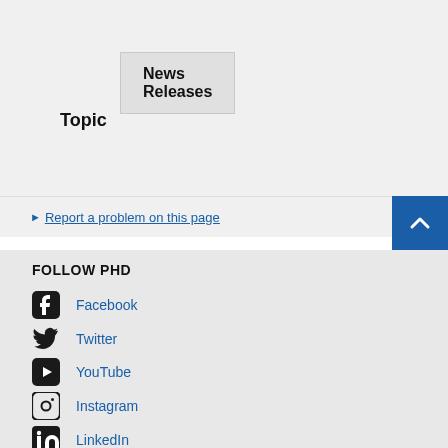News Releases
Topic
Report a problem on this page
FOLLOW PHD
Facebook
Twitter
YouTube
Instagram
LinkedIn